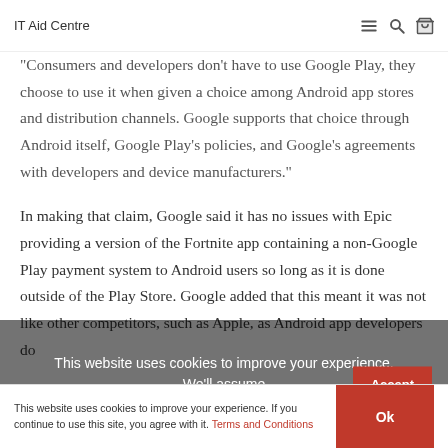IT Aid Centre
"Consumers and developers don't have to use Google Play, they choose to use it when given a choice among Android app stores and distribution channels. Google supports that choice through Android itself, Google Play's policies, and Google's agreements with developers and device manufacturers."
In making that claim, Google said it has no issues with Epic providing a version of the Fortnite app containing a non-Google Play payment system to Android users so long as it is done outside of the Play Store. Google added that this meant it was not like other competitors, such as Apple, as Android app developers do not have to use the Play Store to side-load apps.
This website uses cookies to improve your experience. We'll assume you're ok with this, but you can opt-out if you wish.
This website uses cookies to improve your experience. If you continue to use this site, you agree with it. Terms and Conditions